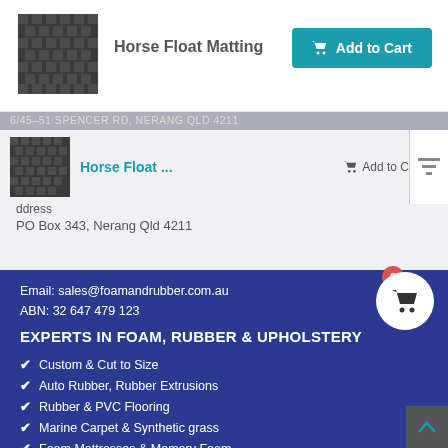[Figure (photo): Rubber matting texture thumbnail image]
Horse Float Matting
Add to Cart
6/45-51 SPENCER RD, NERANG QLD 4211
[Figure (photo): Rubber matting texture thumbnail image (smaller)]
Horse Float ...
Add to C
ddress
PO Box 343, Nerang Qld 4211
1
Ph: 0755961221
Email: sales@foamandrubber.com.au
ABN: 32 647 479 123
EXPERTS IN FOAM, RUBBER & UPHOLSTERY
Custom & Cut to Size
Auto Rubber, Rubber Extrusions
Rubber & PVC Flooring
Marine Carpet & Synthetic grass
Foam Mattresses & Memory Foam